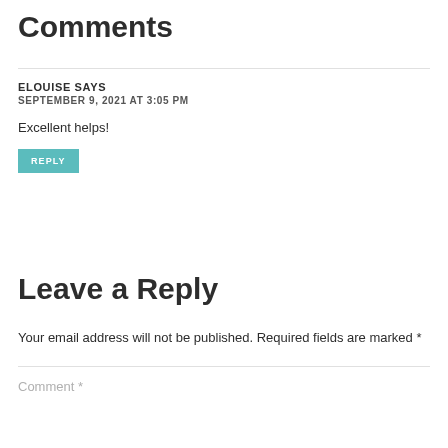Comments
ELOUISE SAYS
SEPTEMBER 9, 2021 AT 3:05 PM
Excellent helps!
REPLY
Leave a Reply
Your email address will not be published. Required fields are marked *
Comment *